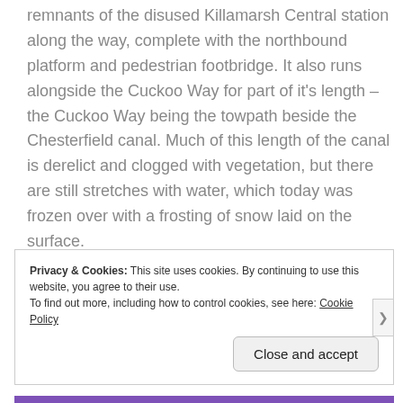remnants of the disused Killamarsh Central station along the way, complete with the northbound platform and pedestrian footbridge. It also runs alongside the Cuckoo Way for part of it's length – the Cuckoo Way being the towpath beside the Chesterfield canal. Much of this length of the canal is derelict and clogged with vegetation, but there are still stretches with water, which today was frozen over with a frosting of snow laid on the surface.
Privacy & Cookies: This site uses cookies. By continuing to use this website, you agree to their use.
To find out more, including how to control cookies, see here: Cookie Policy